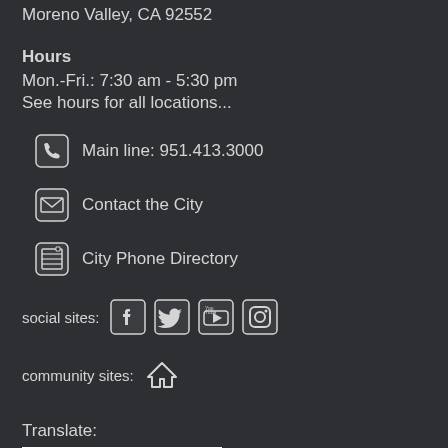Moreno Valley, CA 92552
Hours
Mon.-Fri.: 7:30 am - 5:30 pm
See hours for all locations...
Main line: 951.413.3000
Contact the City
City Phone Directory
social sites:
community sites:
Translate: